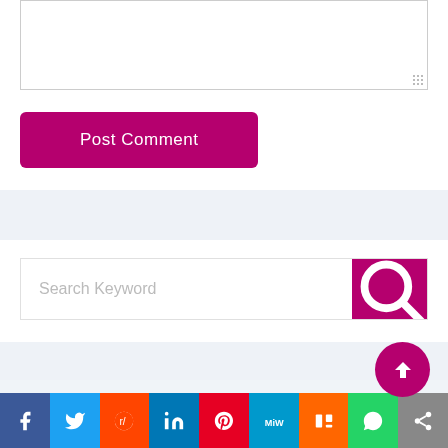[Figure (screenshot): Comment textarea input box with resize handle]
[Figure (screenshot): Post Comment button in magenta/dark pink color]
[Figure (screenshot): Search Keyword input bar with magenta search button]
[Figure (screenshot): Social media share bar at bottom: Facebook, Twitter, Reddit, LinkedIn, Pinterest, MeWe, Mix, WhatsApp, Share icons, and scroll-to-top button]